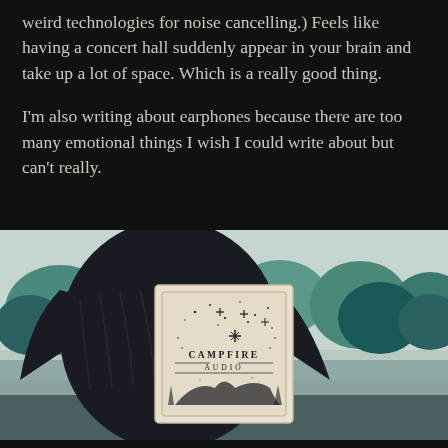weird technologies for noise cancelling.) Feels like having a concert hall suddenly appear in your brain and take up a lot of space. Which is a really good thing.
I'm also writing about earphones because there are too many emotional things I wish I could write about but can't really.
[Figure (photo): A photograph showing a Campfire Audio earphone box being held up against an illustrated/painted background featuring teal-colored trees and a park-like scene. The box is white/cream colored with a starry night sky design and the Campfire Audio logo and brand name printed on it. The hands/person holding the box are dressed in dark clothing.]